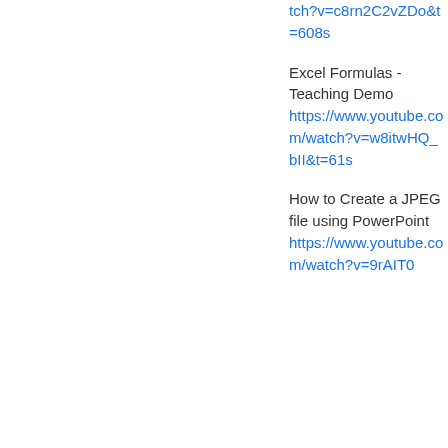tch?v=c8rn2C2vZDo&t=608s
Excel Formulas - Teaching Demo
https://www.youtube.com/watch?v=w8itwHQ_bII&t=61s
How to Create a JPEG file using PowerPoint
https://www.youtube.com/watch?v=9rAIT0...